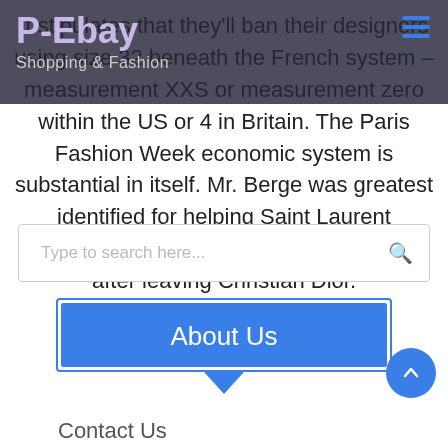P-Ebay
Shopping & Fashion
It stipulates that they'll ban their designers using size 32 beneath the French system – measurement XXS or measurement zero within the US or 4 in Britain. The Paris Fashion Week economic system is substantial in itself. Mr. Berge was greatest identified for helping Saint Laurent discovered his own fashion home in 1961 after leaving Christian Dior.
Type to search here...
About Us
Contact Us